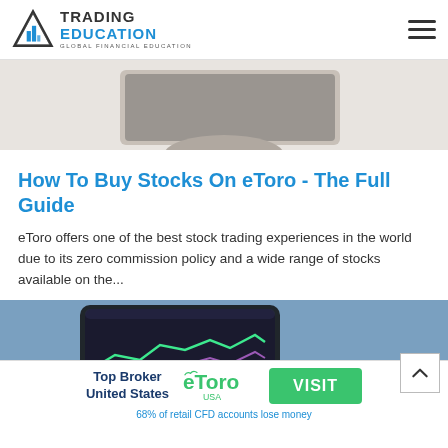Trading Education - Global Financial Education
[Figure (photo): Partial view of a laptop/phone on a desk, cropped at top of article]
How To Buy Stocks On eToro - The Full Guide
eToro offers one of the best stock trading experiences in the world due to its zero commission policy and a wide range of stocks available on the...
[Figure (photo): Hand holding a smartphone displaying a stock trading chart with green and purple lines]
Top Broker United States
[Figure (logo): eToro USA logo in green]
VISIT
68% of retail CFD accounts lose money